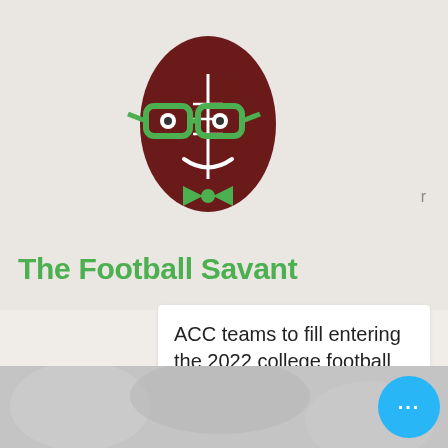[Figure (logo): The Football Savant logo: a cartoon football with glasses and a bow tie in dark red and green colors]
The Football Savant
ACC teams to fill entering the 2022 college football season.
[Figure (photo): Gray/white icy or crystalline texture photo at the bottom of the page]